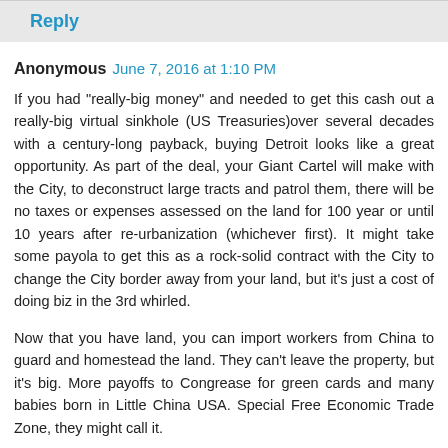Reply
Anonymous  June 7, 2016 at 1:10 PM
If you had "really-big money" and needed to get this cash out a really-big virtual sinkhole (US Treasuries)over several decades with a century-long payback, buying Detroit looks like a great opportunity. As part of the deal, your Giant Cartel will make with the City, to deconstruct large tracts and patrol them, there will be no taxes or expenses assessed on the land for 100 year or until 10 years after re-urbanization (whichever first). It might take some payola to get this as a rock-solid contract with the City to change the City border away from your land, but it's just a cost of doing biz in the 3rd whirled.
Now that you have land, you can import workers from China to guard and homestead the land. They can't leave the property, but it's big. More payoffs to Congrease for green cards and many babies born in Little China USA. Special Free Economic Trade Zone, they might call it.